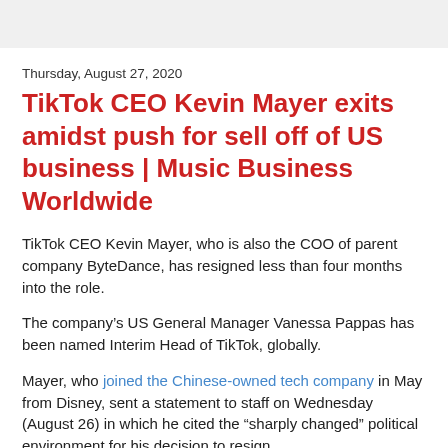Thursday, August 27, 2020
TikTok CEO Kevin Mayer exits amidst push for sell off of US business | Music Business Worldwide
TikTok CEO Kevin Mayer, who is also the COO of parent company ByteDance, has resigned less than four months into the role.
The company’s US General Manager Vanessa Pappas has been named Interim Head of TikTok, globally.
Mayer, who joined the Chinese-owned tech company in May from Disney, sent a statement to staff on Wednesday (August 26) in which he cited the “sharply changed” political environment for his decision to resign.
The company’s...